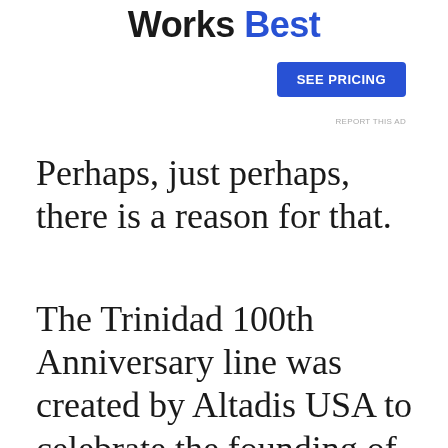Works Best
[Figure (other): Advertisement button: SEE PRICING (blue button)]
REPORT THIS AD
Perhaps, just perhaps, there is a reason for that.
The Trinidad 100th Anniversary line was created by Altadis USA to celebrate the founding of the brand by Diego and Ramon Trinidad around 1905. The Trinidad